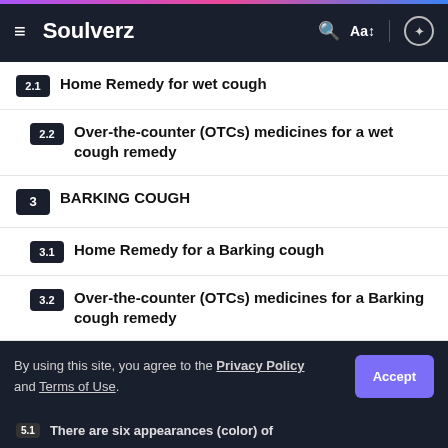Soulverz
2.1 Home Remedy for wet cough
2.2 Over-the-counter (OTCs) medicines for a wet cough remedy
3 BARKING COUGH
3.1 Home Remedy for a Barking cough
3.2 Over-the-counter (OTCs) medicines for a Barking cough remedy
4 Whooping Cough
4.1 Home Remedy for a Whopping cough
4.2 Over-the-counter (OTCs) medicines for a Whopping Cough
By using this site, you agree to the Privacy Policy and Terms of Use.
5.1 There are six appearances (color) of